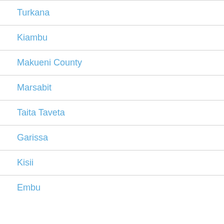Turkana
Kiambu
Makueni County
Marsabit
Taita Taveta
Garissa
Kisii
Embu